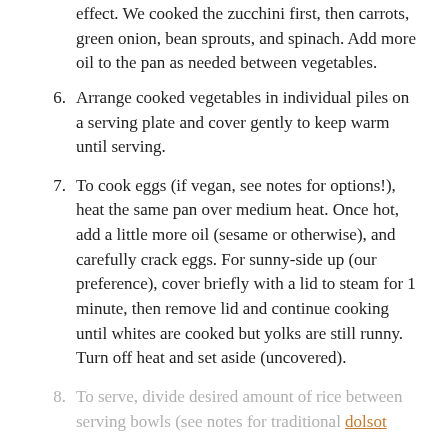(continuation) effect. We cooked the zucchini first, then carrots, green onion, bean sprouts, and spinach. Add more oil to the pan as needed between vegetables.
6. Arrange cooked vegetables in individual piles on a serving plate and cover gently to keep warm until serving.
7. To cook eggs (if vegan, see notes for options!), heat the same pan over medium heat. Once hot, add a little more oil (sesame or otherwise), and carefully crack eggs. For sunny-side up (our preference), cover briefly with a lid to steam for 1 minute, then remove lid and continue cooking until whites are cooked but yolks are still runny. Turn off heat and set aside (uncovered).
8. To serve, divide desired amount of rice between serving bowls (see notes for traditional dolsot